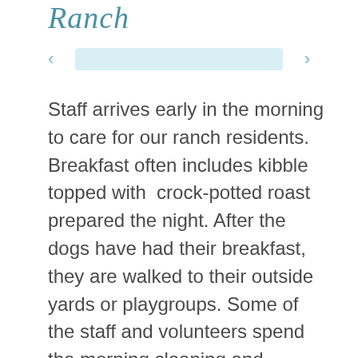Ranch
[Figure (other): Navigation arrows and partial image thumbnail for a photo carousel]
Staff arrives early in the morning to care for our ranch residents. Breakfast often includes kibble topped with  crock-potted roast prepared the night. After the dogs have had their breakfast, they are walked to their outside yards or playgroups. Some of the staff and volunteers spend the morning cleaning and sanitizing kennels inside and out, doing laundry and dishes. For more information on our